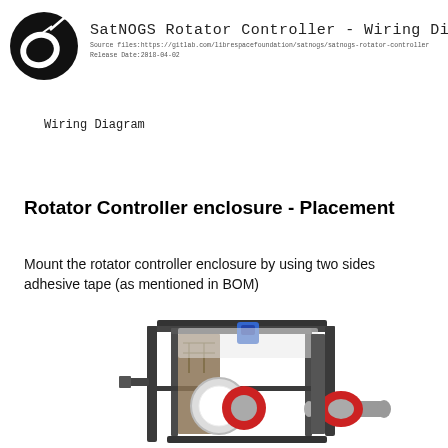SatNOGS Rotator Controller - Wiring Di
Source files:https://gitlab.com/librespacefoundation/satnogs/satnogs-rotator-controller
Release Date:2018-04-02
Wiring Diagram
Rotator Controller enclosure - Placement
Mount the rotator controller enclosure by using two sides adhesive tape (as mentioned in BOM)
[Figure (engineering-diagram): 3D rendering of SatNOGS rotator controller enclosure showing a metal frame cage structure with internal components including a blue connector, circular magnetic components with red and grey cylindrical parts, and a green circuit board visible inside.]